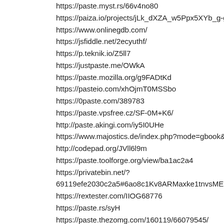https://paste.myst.rs/66v4no80
https://paiza.io/projects/jLk_dXZA_w5Ppx5XYb_g-g?langua
https://www.onlinegdb.com/
https://jsfiddle.net/2ecyuthf/
https://p.teknik.io/Z5ll7
https://justpaste.me/OWkA
https://paste.mozilla.org/g9FADtKd
https://pasteio.com/xhOjmT0MSSbo
https://0paste.com/389783
https://paste.vpsfree.cz/SF-0M+K6/
http://paste.akingi.com/iy5I0UHe
https://www.majostics.de/index.php?mode=gbook&site=g
http://codepad.org/JVll6l9m
https://paste.toolforge.org/view/ba1ac2a4
https://privatebin.net/?69119efe2030c2a5#6ao8c1Kv8ARMaxke1tnvsMEEckArBzU
https://rextester.com/IIOG68776
https://paste.rs/syH
https://paste.thezomg.com/160119/66079545/
https://paste2.org/8t2zVbaM